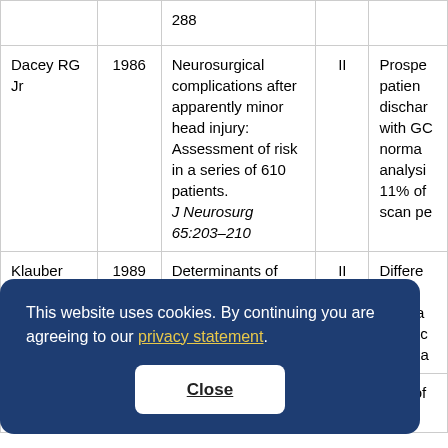| Author | Year | Title | Level | Description |
| --- | --- | --- | --- | --- |
|  |  | 288 |  |  |
| Dacey RG Jr | 1986 | Neurosurgical complications after apparently minor head injury: Assessment of risk in a series of 610 patients. J Neurosurg 65:203–210 | II | Prospe… patien… dischar… with GO norma… analysi… 11% of scan pe… |
| Klauber MR | 1989 | Determinants of head injury: | II | Differe… patien… compa… in the c… risk" pa… |
| Watson MR | 1995 | The post | II | 72% of… |
This website uses cookies. By continuing you are agreeing to our privacy statement.